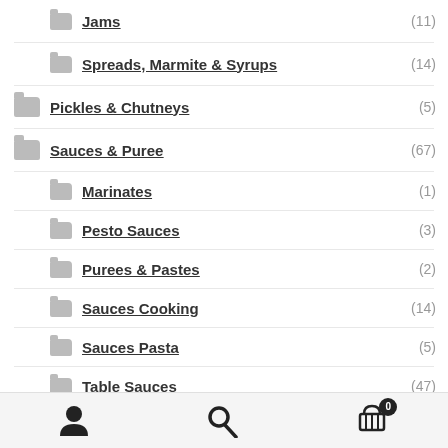Jams (11)
Spreads, Marmite & Syrups (14)
Pickles & Chutneys (5)
Sauces & Puree (67)
Marinates (1)
Pesto Sauces (3)
Purees & Pastes (2)
Sauces Cooking (14)
Sauces Pasta (5)
Table Sauces (47)
BBQ Sauce (7)
Brown Sauces (5)
Account | Search | Cart (0)